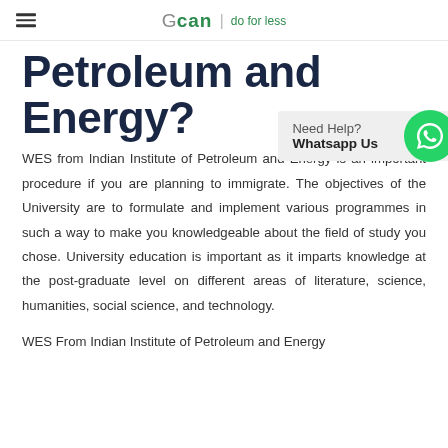≡  Gcan | do for less
Petroleum and Energy?
WES from Indian Institute of Petroleum and Energy is an important procedure if you are planning to immigrate. The objectives of the University are to formulate and implement various programmes in such a way to make you knowledgeable about the field of study you chose. University education is important as it imparts knowledge at the post-graduate level on different areas of literature, science, humanities, social science, and technology.
WES From Indian Institute of Petroleum and Energy